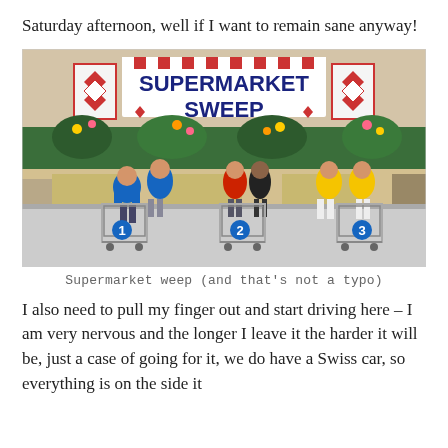Saturday afternoon, well if I want to remain sane anyway!
[Figure (photo): A scene from the TV game show 'Supermarket Sweep', showing contestants in blue, red, and yellow sweaters standing behind shopping carts numbered 1, 2, and 3. A large sign reads 'SUPERMARKET SWEEP' at the back of the set.]
Supermarket weep (and that's not a typo)
I also need to pull my finger out and start driving here – I am very nervous and the longer I leave it the harder it will be, just a case of going for it, we do have a Swiss car, so everything is on the side it